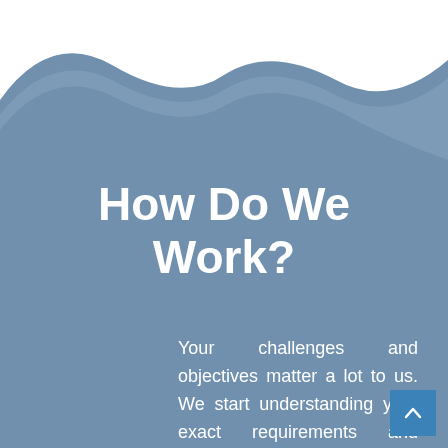How Do We Work?
Your challenges and objectives matter a lot to us. We start understanding your exact requirements and conduct our research accordingly. We deliver you the project by combining information